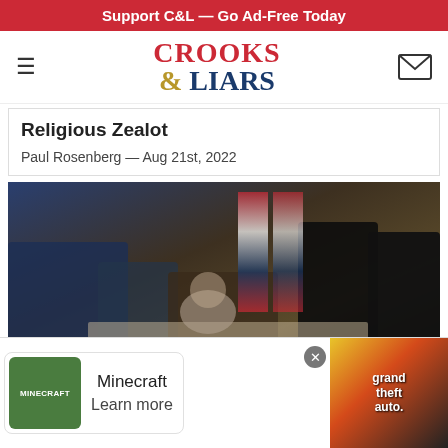Support C&L — Go Ad-Free Today
CROOKS & LIARS
Religious Zealot
Paul Rosenberg — Aug 21st, 2022
[Figure (photo): Photo of people gathered around a desk at what appears to be a White House signing ceremony, with American flags in the background]
15
[Figure (screenshot): Advertisement banner showing Minecraft and Grand Theft Auto ads with close button]